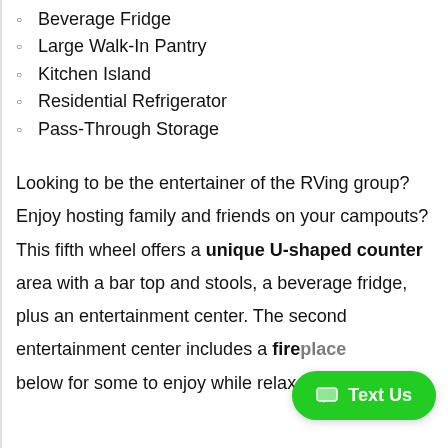Beverage Fridge
Large Walk-In Pantry
Kitchen Island
Residential Refrigerator
Pass-Through Storage
Looking to be the entertainer of the RVing group? Enjoy hosting family and friends on your campouts? This fifth wheel offers a unique U-shaped counter area with a bar top and stools, a beverage fridge, plus an entertainment center. The second entertainment center includes a fireplace below for some to enjoy while relax...